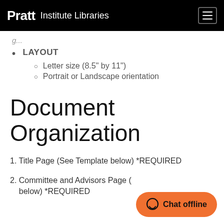Pratt Institute Libraries
LAYOUT
Letter size (8.5" by 11")
Portrait or Landscape orientation
Document Organization
1. Title Page (See Template below) *REQUIRED
2. Committee and Advisors Page (See Template below) *REQUIRED